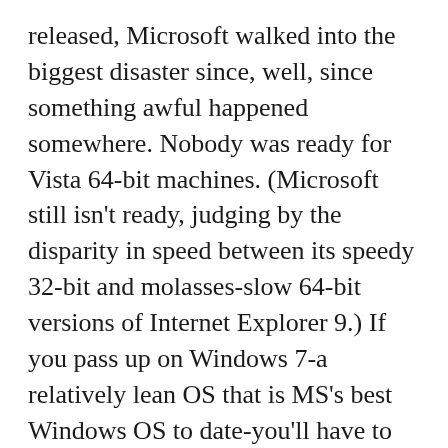released, Microsoft walked into the biggest disaster since, well, since something awful happened somewhere. Nobody was ready for Vista 64-bit machines. (Microsoft still isn't ready, judging by the disparity in speed between its speedy 32-bit and molasses-slow 64-bit versions of Internet Explorer 9.) If you pass up on Windows 7-a relatively lean OS that is MS's best Windows OS to date-you'll have to settle for a worse-than-Vista, confused and confusing Windows 8 when you really do have to buy a new computer.
The question, then, isn't why to keep Windows XP; it's what kind of laptop you're going to buy in the n2ext few months. Quite simply, you can't afford not to buy one. When you're zipping along with your DDR3 RAM and your 500GB (minimum!) 4-K